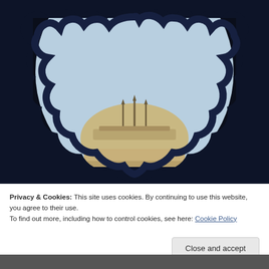[Figure (photo): A photograph of a large domed building with three spires/finials on top, viewed through an ornate scalloped arch opening. The arch frame is dark navy blue, the sky is pale blue/hazy, and the dome is golden-bronze. The photo is framed by the decorative archway, with dark surroundings.]
Privacy & Cookies: This site uses cookies. By continuing to use this website, you agree to their use.
To find out more, including how to control cookies, see here: Cookie Policy
Close and accept